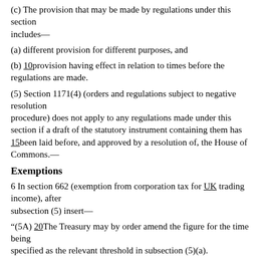(c) The provision that may be made by regulations under this section includes—
(a) different provision for different purposes, and
(b) 10provision having effect in relation to times before the regulations are made.
(5) Section 1171(4) (orders and regulations subject to negative resolution procedure) does not apply to any regulations made under this section if a draft of the statutory instrument containing them has 15been laid before, and approved by a resolution of, the House of Commons.—
Exemptions
6 In section 662 (exemption from corporation tax for UK trading income), after subsection (5) insert—
“(5A) 20The Treasury may by order amend the figure for the time being specified as the relevant threshold in subsection (5)(a).